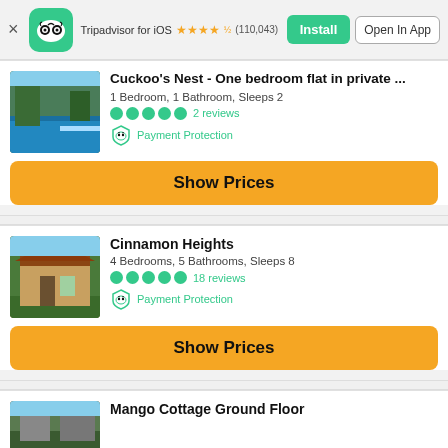[Figure (screenshot): Tripadvisor for iOS app banner with logo, star rating (110,043 reviews), Install and Open In App buttons]
Cuckoo's Nest - One bedroom flat in private ...
1 Bedroom, 1 Bathroom, Sleeps 2
2 reviews
Payment Protection
Show Prices
Cinnamon Heights
4 Bedrooms, 5 Bathrooms, Sleeps 8
18 reviews
Payment Protection
Show Prices
Mango Cottage Ground Floor